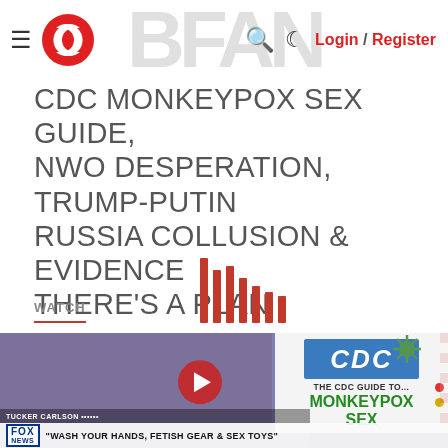Login / Register
CDC MONKEYPOX SEX GUIDE, NWO DESPERATION, TRUMP-PUTIN RUSSIA COLLUSION & EVIDENCE THERE'S A PLAN
WATCH
[Figure (screenshot): Video thumbnail showing a news anchor on Fox News with a CDC Monkeypox Sex guide graphic. Lower third reads: "WASH YOUR HANDS, FETISH GEAR & SEX TOYS" with Tucker Carlson attribution.]